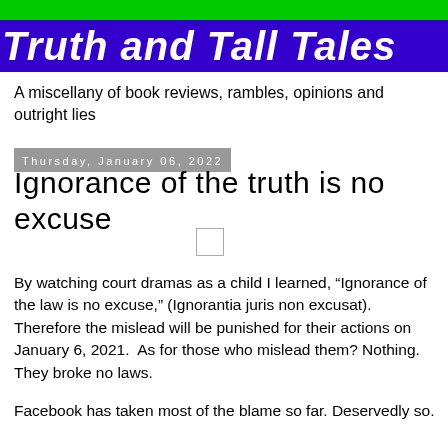[Figure (logo): Blog header banner with green background and dark blue strip containing italic bold white text 'Truth and Tall Tales']
A miscellany of book reviews, rambles, opinions and outright lies
Thursday, January 06, 2022
Ignorance of the truth is no excuse
[Figure (other): Small empty image placeholder box]
By watching court dramas as a child I learned, “Ignorance of the law is no excuse,” (Ignorantia juris non excusat). Therefore the mislead will be punished for their actions on January 6, 2021.  As for those who mislead them? Nothing. They broke no laws.
Facebook has taken most of the blame so far. Deservedly so. However, big institutions and Facebook are a story to be